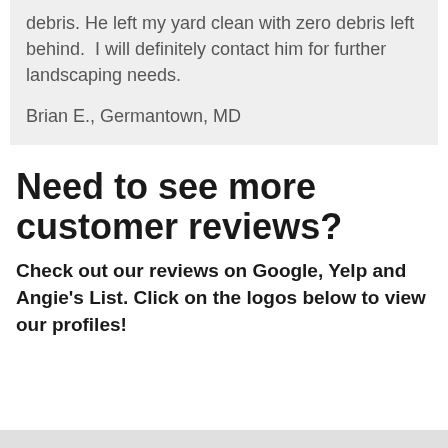debris. He left my yard clean with zero debris left behind.  I will definitely contact him for further landscaping needs.

Brian E., Germantown, MD
Need to see more customer reviews?
Check out our reviews on Google, Yelp and Angie's List. Click on the logos below to view our profiles!